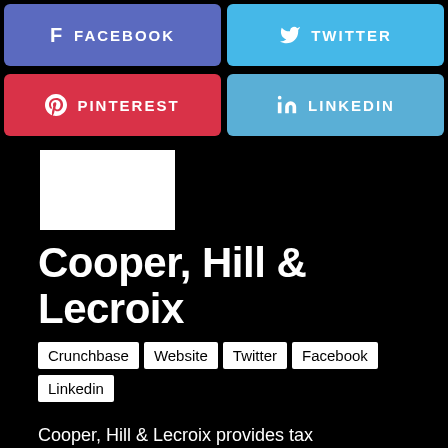[Figure (infographic): Social media share buttons: Facebook (purple-blue), Twitter (light blue), Pinterest (red), LinkedIn (blue)]
[Figure (photo): White logo/image placeholder on black background]
Cooper, Hill & Lecroix
Crunchbase  Website  Twitter  Facebook  Linkedin
Cooper, Hill & Lecroix provides tax management, accounting, bookkeeping,